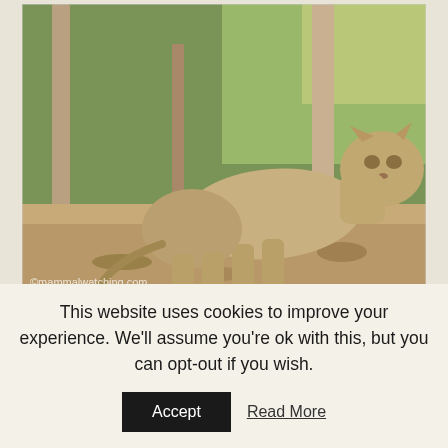[Figure (photo): A lioness (Asiatic Lion) standing among trees and rocky ground in a forest setting. Watermark text reads ©mammalwatching.com]
Asiatic Lion, Panthera leo persica
This website uses cookies to improve your experience. We'll assume you're ok with this, but you can opt-out if you wish.